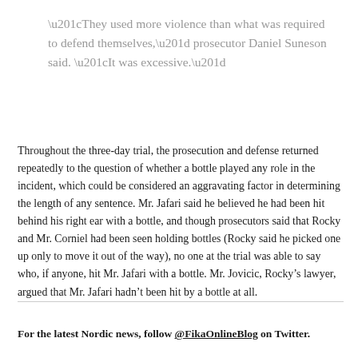“They used more violence than what was required to defend themselves,” prosecutor Daniel Suneson said. “It was excessive.”
Throughout the three-day trial, the prosecution and defense returned repeatedly to the question of whether a bottle played any role in the incident, which could be considered an aggravating factor in determining the length of any sentence. Mr. Jafari said he believed he had been hit behind his right ear with a bottle, and though prosecutors said that Rocky and Mr. Corniel had been seen holding bottles (Rocky said he picked one up only to move it out of the way), no one at the trial was able to say who, if anyone, hit Mr. Jafari with a bottle. Mr. Jovicic, Rocky’s lawyer, argued that Mr. Jafari hadn’t been hit by a bottle at all.
For the latest Nordic news, follow @FikaOnlineBlog on Twitter.